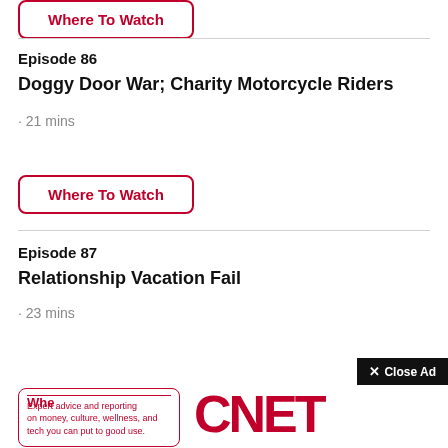Where To Watch
Episode 86
Doggy Door War; Charity Motorcycle Riders
· 21 mins
Where To Watch
Episode 87
Relationship Vacation Fail
· 23 mins
Whe
[Figure (screenshot): CNET advertisement overlay with 'Close Ad' button, CNET logo in red, and tagline 'Expert advice and reporting on money, culture, wellness, and tech you can put to good use.']